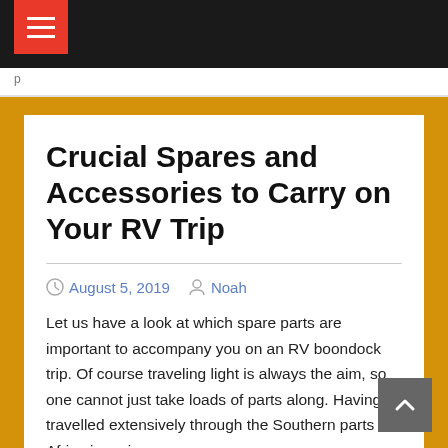Crucial Spares and Accessories to Carry on Your RV Trip
August 5, 2019   Noah
Let us have a look at which spare parts are important to accompany you on an RV boondock trip. Of course traveling light is always the aim, so one cannot just take loads of parts along. Having travelled extensively through the Southern parts of Africa in various